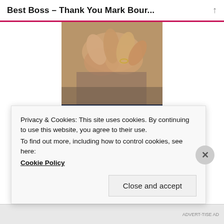Best Boss – Thank You Mark Bour...
[Figure (photo): Close-up photo of hands clasped together on a wooden surface, with a person wearing rings. Below the photo is a dark navy blue banner reading 'WORDPRESS HOSTING THAT MEANS BUSINESS.' in bold white uppercase text.]
Privacy & Cookies: This site uses cookies. By continuing to use this website, you agree to their use.
To find out more, including how to control cookies, see here:
Cookie Policy
Close and accept